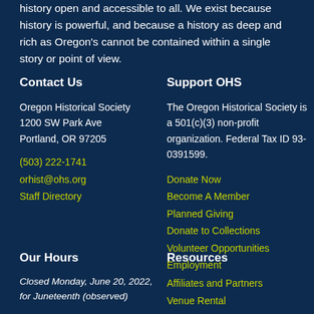history open and accessible to all. We exist because history is powerful, and because a history as deep and rich as Oregon's cannot be contained within a single story or point of view.
Contact Us
Oregon Historical Society
1200 SW Park Ave
Portland, OR 97205
(503) 222-1741
orhist@ohs.org
Staff Directory
Support OHS
The Oregon Historical Society is a 501(c)(3) non-profit organization. Federal Tax ID 93-0391599.
Donate Now
Become A Member
Planned Giving
Donate to Collections
Volunteer Opportunities
Employment
Our Hours
Closed Monday, June 20, 2022, for Juneteenth (observed)
Resources
Affiliates and Partners
Venue Rental